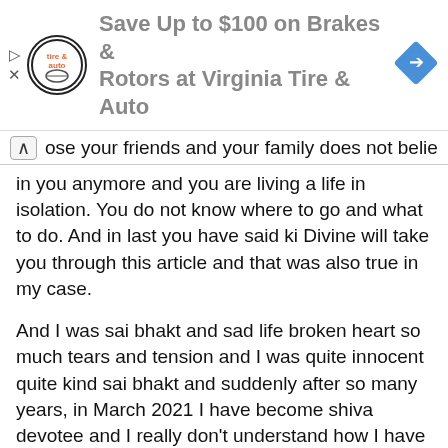[Figure (screenshot): Advertisement banner for Virginia Tire & Auto offering Save Up to $100 on Brakes & Rotors, with circular logo on left and blue diamond navigation icon on right.]
ose your friends and your family does not believe in you anymore and you are living a life in isolation. You do not know where to go and what to do. And in last you have said ki Divine will take you through this article and that was also true in my case.
And I was sai bhakt and sad life broken heart so much tears and tension and I was quite innocent quite kind sai bhakt and suddenly after so many years, in March 2021 I have become shiva devotee and I really don't understand how I have become shiva devotee. It feels like suddenly and automatically I have become shiva devotee as I have never visited or prayed lord shiv not a single photo frame hanged in my home of shiva, never